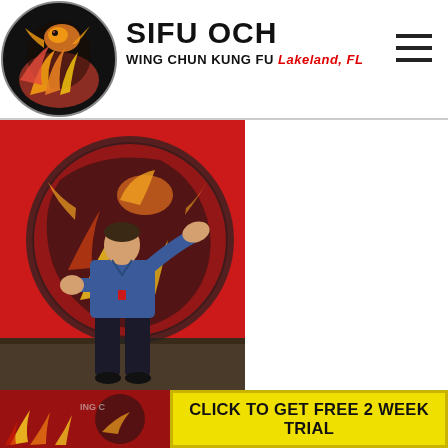SIFU OCH WING CHUN KUNG FU Lakeland, FL
[Figure (photo): A martial arts instructor in a blue shirt demonstrating Wing Chun kung fu stances in front of a red wall with a large dragon logo mural]
[Figure (photo): Partial view of the Wing Chun kung fu school interior with flame decorations on a red wall]
CLICK TO GET FREE 2 WEEK TRIAL